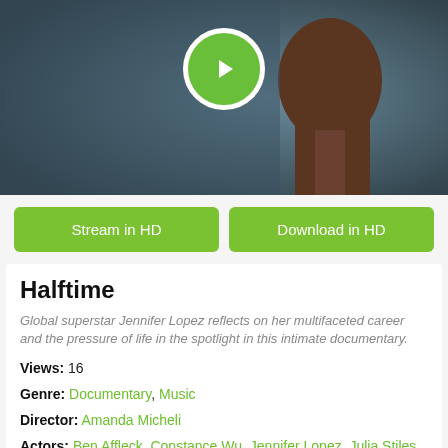[Figure (photo): Movie thumbnail showing a person's profile with a green play button overlay on a dark teal background]
Stream in HD
Download in HD
Halftime
Global superstar Jennifer Lopez reflects on her multifaceted career and the pressure of life in the spotlight in this intimate documentary.
Views: 16
Genre: Documentary, Music
Director: Amanda Micheli
Actors: Ben Affleck, Constance Wu, Jennifer Lopez, Julia Stiles, Keke Palmer, Laura Dern, Lorene Scafaria, Quentin Tarantino, Shakira, Tom Hanks
Duration: 95
Quality: 4K
Release: 2022